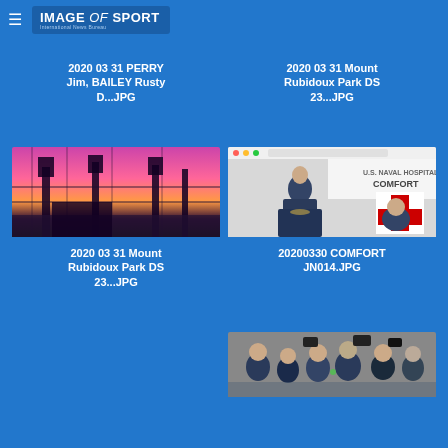IMAGE of SPORT
2020 03 31 PERRY Jim, BAILEY Rusty D...JPG
2020 03 31 Mount Rubidoux Park DS 23...JPG
[Figure (photo): Sunset photo of palm trees and stadium with pink/purple sky through metal fence]
2020 03 31 Mount Rubidoux Park DS 23...JPG
[Figure (photo): Man at podium in front of U.S. Naval Hospital Ship Comfort sign with red cross]
20200330 COMFORT JN014.JPG
[Figure (photo): Group of people in military/official gear in crowd outdoors]